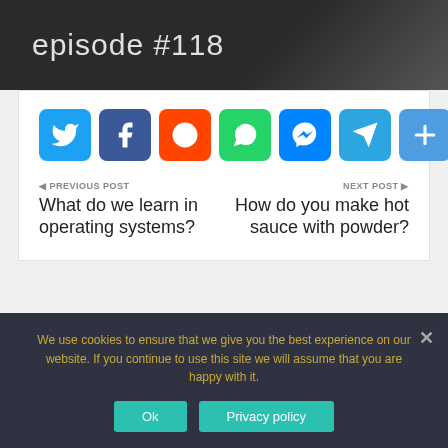episode #118
[Figure (infographic): Row of social media share buttons: Twitter, Facebook, Reddit, WhatsApp, Messenger, Telegram, and a generic share (+) button]
PREVIOUS POST
What do we learn in operating systems?
NEXT POST
How do you make hot sauce with powder?
Categories
We use cookies to ensure that we give you the best experience on our website. If you continue to use this site we will assume that you are happy with it.